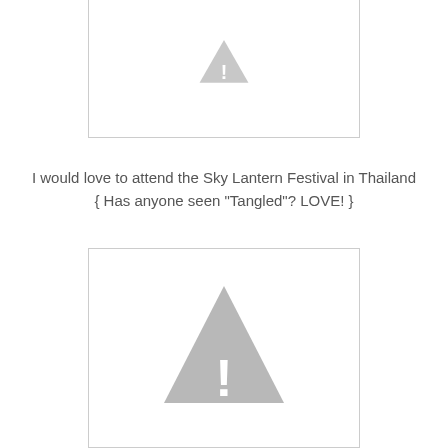[Figure (illustration): Placeholder image box with a warning triangle icon (partially cropped at top)]
I would love to attend the Sky Lantern Festival in Thailand { Has anyone seen "Tangled"? LOVE! }
[Figure (illustration): Placeholder image box with a warning triangle icon containing an exclamation mark]